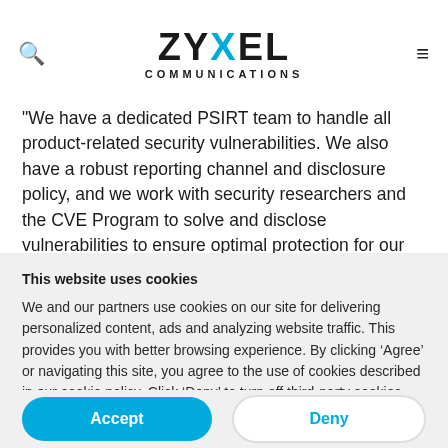ZYXEL COMMUNICATIONS
"We have a dedicated PSIRT team to handle all product-related security vulnerabilities. We also have a robust reporting channel and disclosure policy, and we work with security researchers and the CVE Program to solve and disclose vulnerabilities to ensure optimal protection for our customers." he
This website uses cookies
We and our partners use cookies on our site for delivering personalized content, ads and analyzing website traffic. This provides you with better browsing experience. By clicking ‘Agree’ or navigating this site, you agree to the use of cookies described in our cookie policy. Click ‘Deny’ to turn off third-party cookies. You can manage your cookie preferences at any time. More info
Accept
Deny